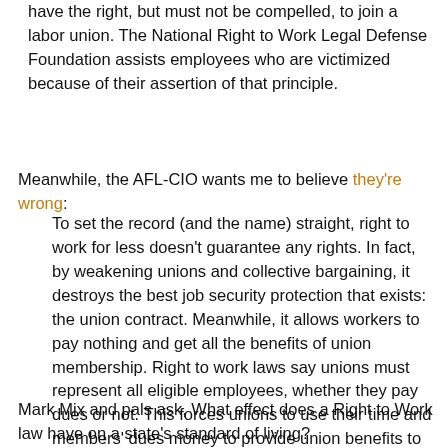have the right, but must not be compelled, to join a labor union. The National Right to Work Legal Defense Foundation assists employees who are victimized because of their assertion of that principle.
Meanwhile, the AFL-CIO wants me to believe they're wrong:
To set the record (and the name) straight, right to work for less doesn't guarantee any rights. In fact, by weakening unions and collective bargaining, it destroys the best job security protection that exists: the union contract. Meanwhile, it allows workers to pay nothing and get all the benefits of union membership. Right to work laws say unions must represent all eligible employees, whether they pay dues or not. This forces unions to use their time and members' dues money to provide union benefits to free riders who are not willing to pay their fair share.
Mark Mix and pals ask, What effect does a Right to Work law have on a state's standard of living?